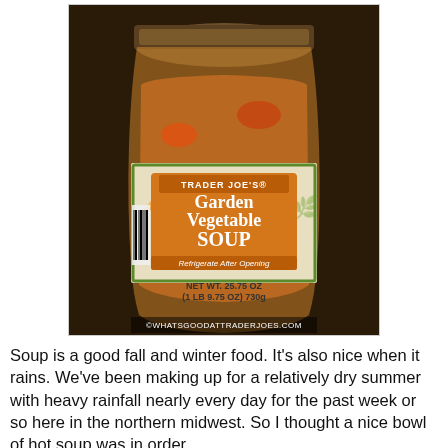[Figure (photo): A glass jar of Trader Joe's Garden Vegetable Soup. The label is cream/tan colored with green border and an orange center panel reading 'TRADER JOE'S Garden Vegetable SOUP Refrigerate After Opening'. Below the label reads 'NET WT. 25.75 OZ (1 LB 9.75 OZ) 730g'. A barcode is visible on the left side of the jar. At the bottom of the image: ©WHATSGOODATTRADERJOES.COM]
Soup is a good fall and winter food. It's also nice when it rains. We've been making up for a relatively dry summer with heavy rainfall nearly every day for the past week or so here in the northern midwest. So I thought a nice bowl of hot soup was in order.